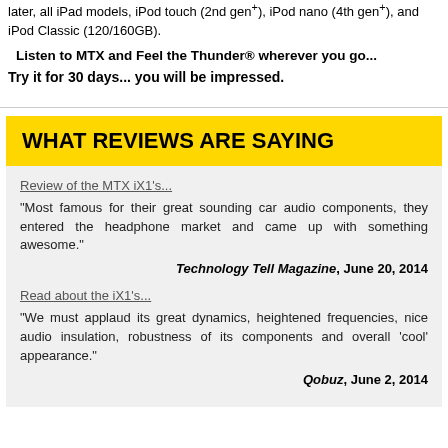later, all iPad models, iPod touch (2nd gen+), iPod nano (4th gen+), and iPod Classic (120/160GB).
Listen to MTX and Feel the Thunder® wherever you go...
Try it for 30 days... you will be impressed.
WHAT REVIEWS ARE SAYING
Review of the MTX iX1's...
"Most famous for their great sounding car audio components, they entered the headphone market and came up with something awesome."
Technology Tell Magazine, June 20, 2014
Read about the iX1's...
"We must applaud its great dynamics, heightened frequencies, nice audio insulation, robustness of its components and overall 'cool' appearance."
Qobuz, June 2, 2014